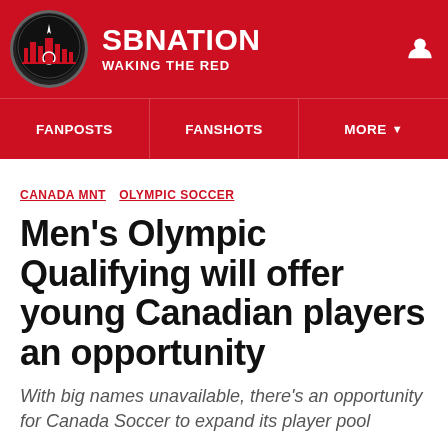SB NATION / WAKING THE RED
FANPOSTS  FANSHOTS  MORE
CANADA MNT  OLYMPIC SOCCER
Men's Olympic Qualifying will offer young Canadian players an opportunity
With big names unavailable, there's an opportunity for Canada Soccer to expand its player pool
By CascadiaFootyBC | Feb 26, 2020, 6:43pm EST